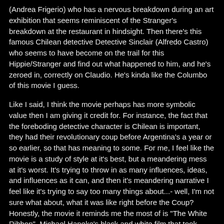(Andrea Frigerio) who has a nervous breakdown during an art exhibition that seems reminiscent of the Stranger's breakdown at the restaurant in hindsight. Then there's this famous Chilean detective Detective Sinclair (Alfredo Castro) who seems to have become on the trail for this Hippie/Stranger and find out what happened to him, and he's zeroed in, correctly on Claudio. He's kinda like the Columbo of this movie I guess.
Like I said, I think the movie perhaps has more symbolic value then I am giving it credit for. For instance, the fact that the foreboding detective character is Chilean is important, they had their revolutionary coup before Argentina's a year or so earlier, so that has meaning to some. For me, I feel like the movie is a study of style at it's best, but a meandering mess at it's worst. It's trying to throw in as many influences, ideas, and influences as it can, and then it's meandering narrative I feel like it's trying to say too many things about...- well, I'm not sure what about, what it was like right before the Coup? Honestly, the movie it reminds me the most of is "The White Ribbon", Michael Haneke's black and white film that took place in a small German town after WWI and before WWII and seemed to be the symbolic indicators of what would become the growth of the Nazi party in the country. I had issues with that